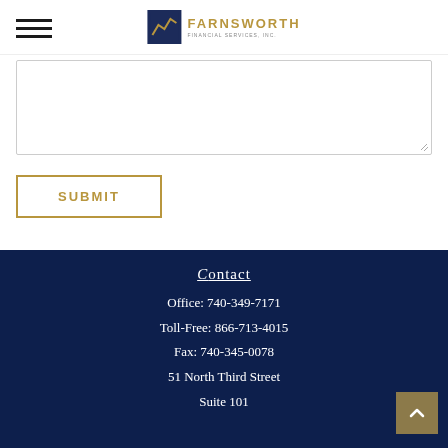Farnsworth Financial Services, Inc.
[Figure (other): Text area input box with resize handle]
SUBMIT
Contact
Office: 740-349-7171
Toll-Free: 866-713-4015
Fax: 740-345-0078
51 North Third Street
Suite 101